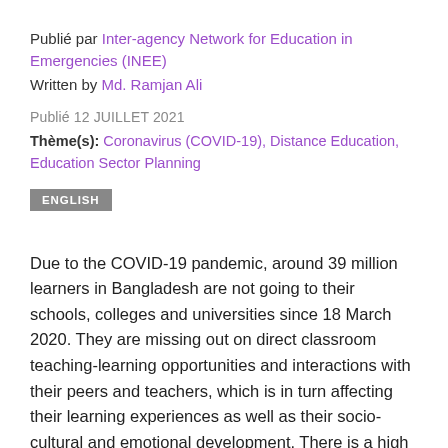Publié par Inter-agency Network for Education in Emergencies (INEE)
Written by Md. Ramjan Ali
Publié 12 JUILLET 2021
Thème(s): Coronavirus (COVID-19), Distance Education, Education Sector Planning
ENGLISH
Due to the COVID-19 pandemic, around 39 million learners in Bangladesh are not going to their schools, colleges and universities since 18 March 2020. They are missing out on direct classroom teaching-learning opportunities and interactions with their peers and teachers, which is in turn affecting their learning experiences as well as their socio-cultural and emotional development. There is a high chance that this will cause them to be more introverted and addicted to online games, illegal websites, anti-social activities and drugs. They also do not know when their educational institutions will reopen, which would allow